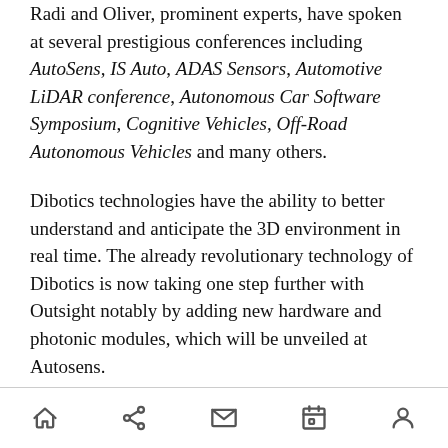Radi and Oliver, prominent experts, have spoken at several prestigious conferences including AutoSens, IS Auto, ADAS Sensors, Automotive LiDAR conference, Autonomous Car Software Symposium, Cognitive Vehicles, Off-Road Autonomous Vehicles and many others.
Dibotics technologies have the ability to better understand and anticipate the 3D environment in real time. The already revolutionary technology of Dibotics is now taking one step further with Outsight notably by adding new hardware and photonic modules, which will be unveiled at Autosens.
Outsight will make a quantum jump in perception
[home] [share] [mail] [calendar] [profile]